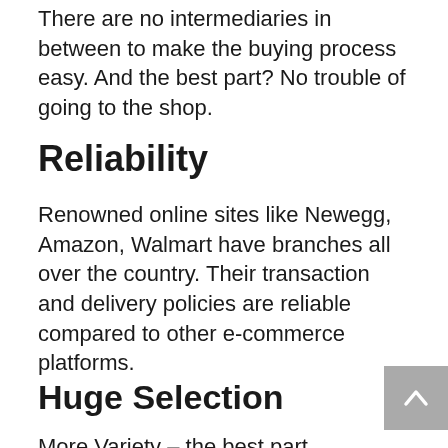There are no intermediaries in between to make the buying process easy. And the best part? No trouble of going to the shop.
Reliability
Renowned online sites like Newegg, Amazon, Walmart have branches all over the country. Their transaction and delivery policies are reliable compared to other e-commerce platforms.
Huge Selection
More Variety – the best part about online shopping platforms. These sites give you access to a vast variety of options to